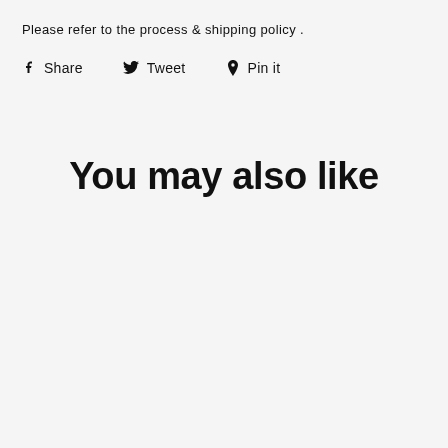Please refer to the process & shipping policy .
Share  Tweet  Pin it
You may also like